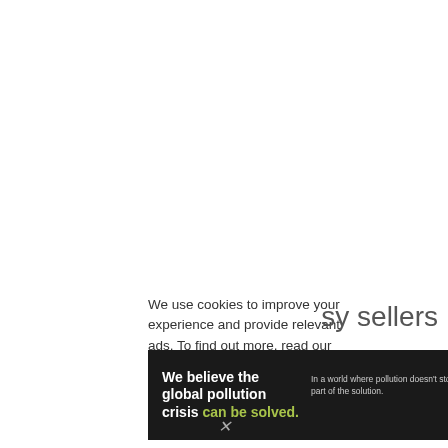We use cookies to improve your experience and provide relevant ads. To find out more, read our privacy
sy sellers

e people
[Figure (infographic): Pure Earth advertisement banner with dark background. Left side: bold white text 'We believe the global pollution crisis' followed by green text 'can be solved.' Center: small white text 'In a world where pollution doesn't stop at borders, we can all be part of the solution.' followed by gold 'JOIN US.' Right side: Pure Earth logo with layered diamond icon in orange/green/gold.]
×